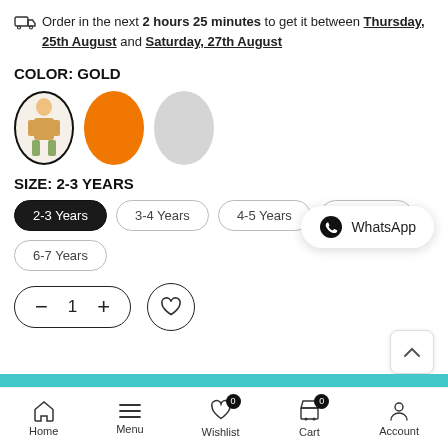Order in the next 2 hours 25 minutes to get it between Thursday, 25th August and Saturday, 27th August
COLOR: GOLD
[Figure (illustration): Three oval color/product selectors: first is selected (outlined, shows a child in a gold outfit), second is filled orange, third is light gray]
SIZE: 2-3 YEARS
[Figure (infographic): Size selection pills: 2-3 Years (selected/dark), 3-4 Years, 4-5 Years, 5-6 Years, 6-7 Years. WhatsApp floating button on the right.]
[Figure (infographic): Quantity control: minus, 1, plus buttons in a pill shape. Heart/wishlist button circle. Scroll-up button.]
Home  Menu  Wishlist 0  Cart 0  Account